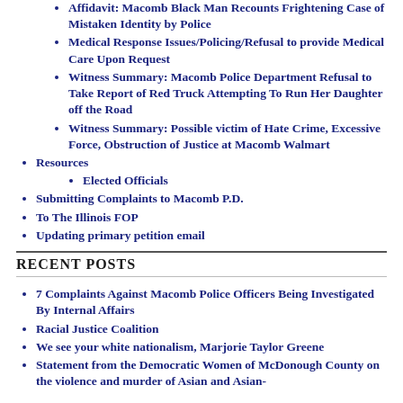Affidavit: Macomb Black Man Recounts Frightening Case of Mistaken Identity by Police
Medical Response Issues/Policing/Refusal to provide Medical Care Upon Request
Witness Summary: Macomb Police Department Refusal to Take Report of Red Truck Attempting To Run Her Daughter off the Road
Witness Summary: Possible victim of Hate Crime, Excessive Force, Obstruction of Justice at Macomb Walmart
Resources
Elected Officials
Submitting Complaints to Macomb P.D.
To The Illinois FOP
Updating primary petition email
RECENT POSTS
7 Complaints Against Macomb Police Officers Being Investigated By Internal Affairs
Racial Justice Coalition
We see your white nationalism, Marjorie Taylor Greene
Statement from the Democratic Women of McDonough County on the violence and murder of Asian and Asian-